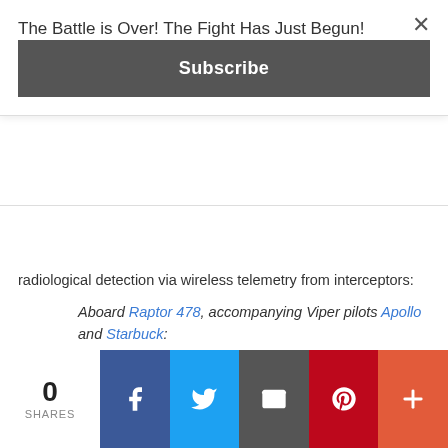The Battle is Over! The Fight Has Just Begun!
Subscribe
radiological detection via wireless telemetry from interceptors:
Aboard Raptor 478, accompanying Viper pilots Apollo and Starbuck:
Crashdown: Cylons on intercept course. They'll be in weapons range, within...two minutes. Oh, frak me--radiological alarm!
Aboard Galactica, in the CIC, seconds later
Dualla: Radiological alarm!
Colonel Tigh: From where?
Dualla: The Olympic Carrier, sir. They've
0 SHARES